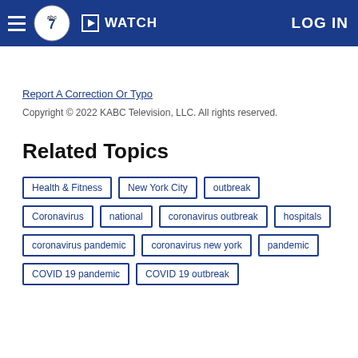ABC7 Navigation bar with logo, WATCH, LOG IN
Report A Correction Or Typo
Copyright © 2022 KABC Television, LLC. All rights reserved.
Related Topics
Health & Fitness
New York City
outbreak
Coronavirus
national
coronavirus outbreak
hospitals
coronavirus pandemic
coronavirus new york
pandemic
COVID 19 pandemic
COVID 19 outbreak